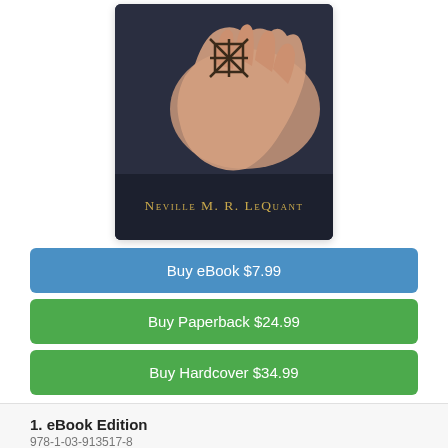[Figure (photo): Book cover showing a hand with a geometric symbol/tattoo resting on a dark leather surface, with author name 'Neville M. R. LeQuant' in gold serif text at the bottom]
Buy eBook $7.99
Buy Paperback $24.99
Buy Hardcover $34.99
1. eBook Edition
978-1-03-913517-8